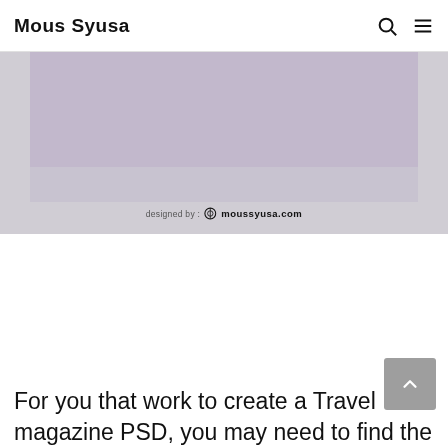Mous Syusa
[Figure (screenshot): A cropped screenshot of a travel magazine PSD mockup on a grey/mauve background, with a watermark reading 'designed by: moussyusa.com']
For you that work to create a Travel magazine PSD, you may need to find the